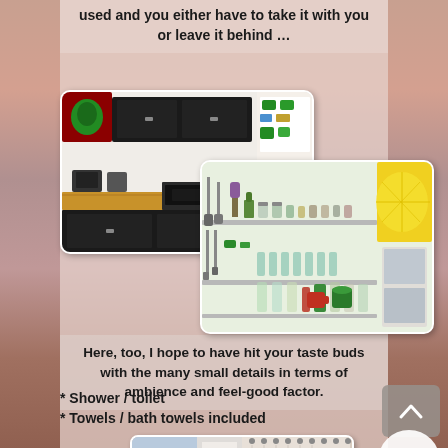used and you either have to take it with you or leave it behind …
[Figure (photo): Collage of two kitchen photos: one showing dark cabinetry with a wooden countertop and appliances, another showing shelves with kitchen items, glassware, and decorative plants with a lemon-slice artwork on wall.]
Here, too, I hope to have hit your taste buds with the many small details in terms of ambience and feel-good factor.
* Shower / toilet
* Towels / bath towels included
[Figure (photo): Bathroom photo showing decorative floral wall art on left and a shower curtain with starfish pattern on right.]